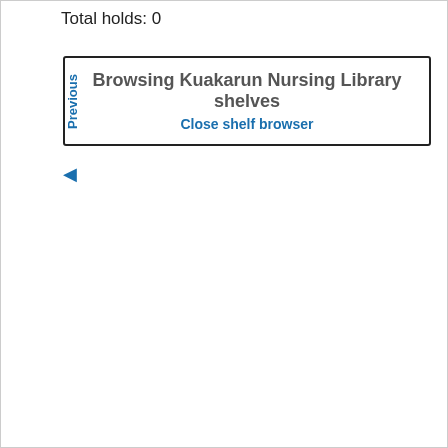Total holds: 0
Previous
Browsing Kuakarun Nursing Library shelves
Close shelf browser
◄